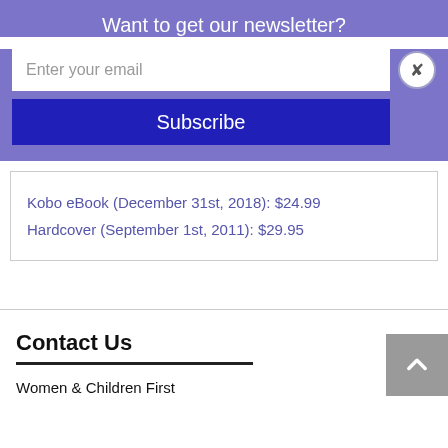Want to get our newsletter?
Enter your email
Subscribe
Kobo eBook (December 31st, 2018): $24.99
Hardcover (September 1st, 2011): $29.95
Contact Us
Women & Children First